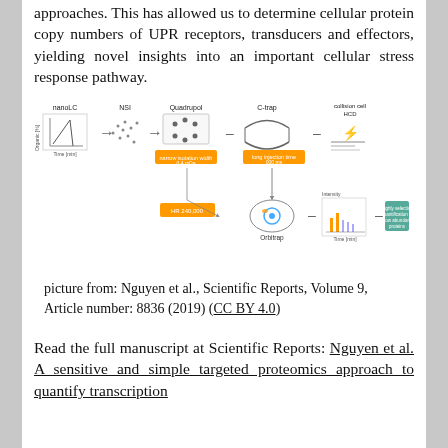approaches. This has allowed us to determine cellular protein copy numbers of UPR receptors, transducers and effectors, yielding novel insights into an important cellular stress response pathway.
[Figure (schematic): Diagram showing a targeted proteomics workflow with stages: nanoLC, NSI, Quadrupol (narrow isolation width 0.4 mDa), C-trap (long injection time 000 ms), collision cell HCD, Orbitrap (HR 240,000), resulting in highly selective quantification of low abundant proteins.]
picture from: Nguyen et al., Scientific Reports, Volume 9, Article number: 8836 (2019) (CC BY 4.0)
Read the full manuscript at Scientific Reports: Nguyen et al. A sensitive and simple targeted proteomics approach to quantify transcription